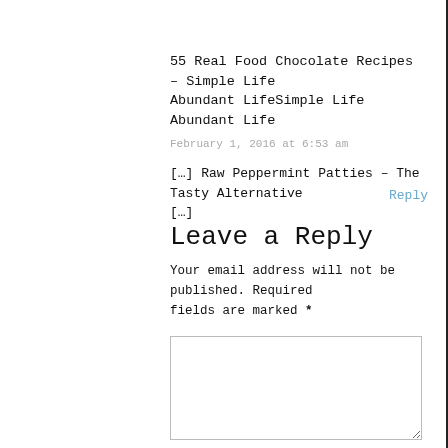55 Real Food Chocolate Recipes – Simple Life Abundant LifeSimple Life Abundant Life
February 1, 2016 at 6:53 am
[…] Raw Peppermint Patties – The Tasty Alternative […]
Reply
Leave a Reply
Your email address will not be published. Required fields are marked *
Comment